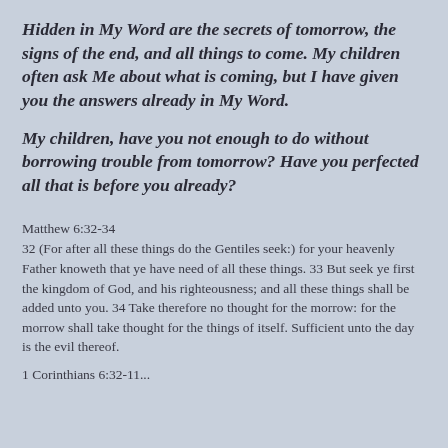Hidden in My Word are the secrets of tomorrow, the signs of the end, and all things to come. My children often ask Me about what is coming, but I have given you the answers already in My Word.
My children, have you not enough to do without borrowing trouble from tomorrow? Have you perfected all that is before you already?
Matthew 6:32-34
32 (For after all these things do the Gentiles seek:) for your heavenly Father knoweth that ye have need of all these things. 33 But seek ye first the kingdom of God, and his righteousness; and all these things shall be added unto you. 34 Take therefore no thought for the morrow: for the morrow shall take thought for the things of itself. Sufficient unto the day is the evil thereof.
1 Corinthians 6:32-11...